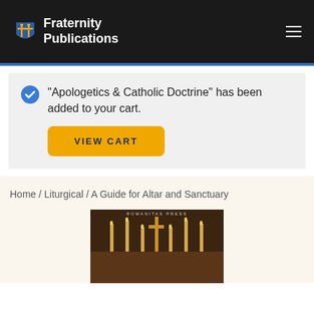Fraternity Publications
"Apologetics & Catholic Doctrine" has been added to your cart.
VIEW CART
Home / Liturgical / A Guide for Altar and Sanctuary
[Figure (photo): Book cover for 'A Guide for Altar and Sanctuary' published by Romanitas Press, showing a church altar with candles and a crucifix]